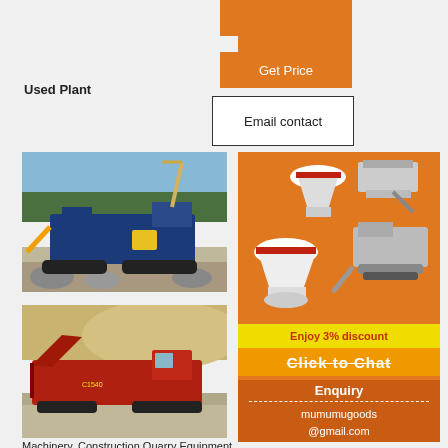[Figure (other): Orange 'More' button at top]
[Figure (other): Orange 'Get Price' stepped button]
Used Plant
[Figure (other): Email contact button with black border]
[Figure (photo): Blue mobile crushing/screening plant on tracks outdoors, excavator in background]
[Figure (photo): Red mobile screener/conveyor on tracks outdoors on gravel]
[Figure (photo): Right side orange panel showing multiple quarry machines: cone crusher, jaw crusher, impact crusher, mobile unit; yellow discount bar 'Enjoy 3% discount'; orange 'Click to Chat' bar; enquiry panel with mumumugoods@gmail.com]
Machinery, Construction Quarry Equipment